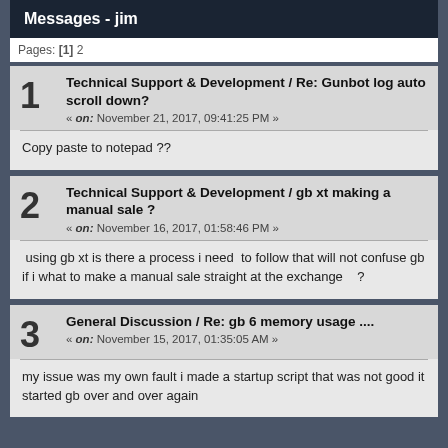Messages - jim
Pages: [1] 2
Technical Support & Development / Re: Gunbot log auto scroll down?
« on: November 21, 2017, 09:41:25 PM »
Copy paste to notepad ??
Technical Support & Development / gb xt making a manual sale ?
« on: November 16, 2017, 01:58:46 PM »
using gb xt is there a process i need  to follow that will not confuse gb if i what to make a manual sale straight at the exchange   ?
General Discussion / Re: gb 6 memory usage ....
« on: November 15, 2017, 01:35:05 AM »
my issue was my own fault i made a startup script that was not good it started gb over and over again